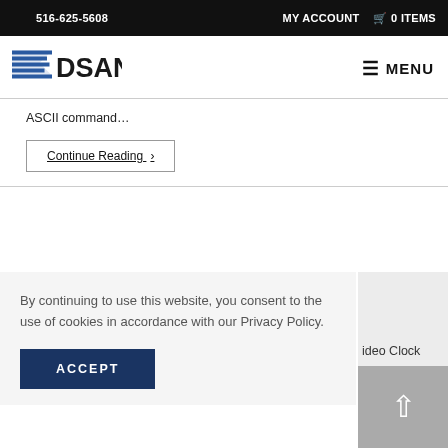516-625-5608  MY ACCOUNT  🛒 0 ITEMS
[Figure (logo): DSAN company logo with blue flag/stripe graphic and bold DSAN text]
ASCII command…
Continue Reading ›
By continuing to use this website, you consent to the use of cookies in accordance with our Privacy Policy.
ACCEPT
ideo Clock